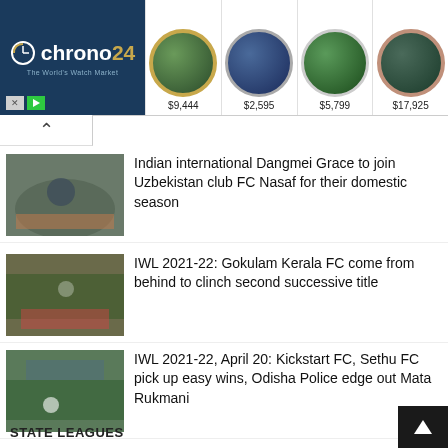[Figure (screenshot): Chrono24 advertisement banner with logo on dark blue background and four watch product images with prices: $9,444, $2,595, $5,799, $17,925]
Indian international Dangmei Grace to join Uzbekistan club FC Nasaf for their domestic season
IWL 2021-22: Gokulam Kerala FC come from behind to clinch second successive title
IWL 2021-22, April 20: Kickstart FC, Sethu FC pick up easy wins, Odisha Police edge out Mata Rukmani
STATE LEAGUES